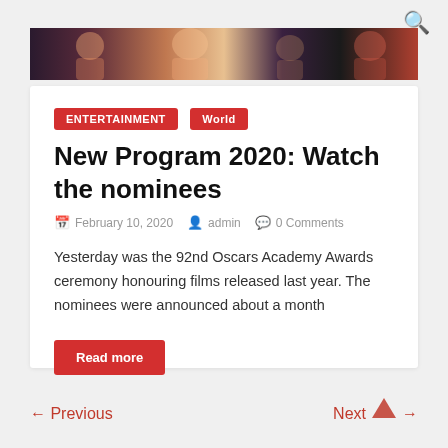[Figure (photo): A dark-toned banner image strip showing a group of people, likely celebrities at an awards ceremony]
ENTERTAINMENT
World
New Program 2020: Watch the nominees
February 10, 2020   admin   0 Comments
Yesterday was the 92nd Oscars Academy Awards ceremony honouring films released last year. The nominees were announced about a month
Read more
← Previous   Next →